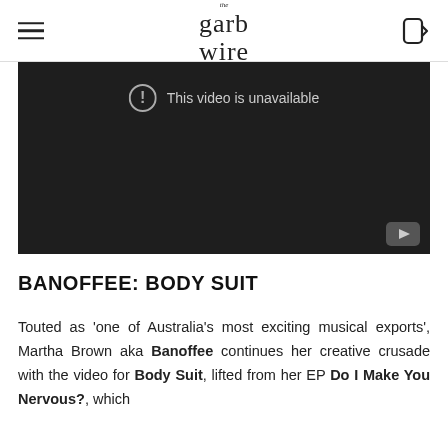the garb wire
[Figure (screenshot): Embedded YouTube video player showing 'This video is unavailable' message on a dark background]
BANOFFEE: BODY SUIT
Touted as 'one of Australia's most exciting musical exports', Martha Brown aka Banoffee continues her creative crusade with the video for Body Suit, lifted from her EP Do I Make You Nervous?, which